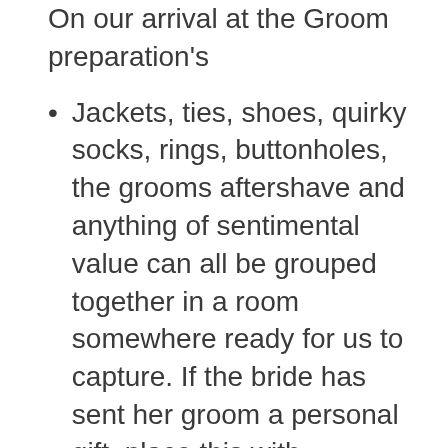On our arrival at the Groom preparation's
Jackets, ties, shoes, quirky socks, rings, buttonholes, the grooms aftershave and anything of sentimental value can all be grouped together in a room somewhere ready for us to capture. If the bride has sent her groom a personal gift, place this with everything too. (One of our brides asked her groom to open his gift when we arrived, it made for great memories)
It's best if the gents can all be dressed in pants and their